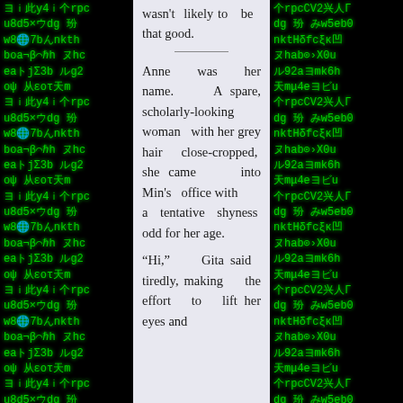wasn't likely to be that good.
Anne was her name. A spare, scholarly-looking woman with her grey hair close-cropped, she came into Min's office with a tentative shyness odd for her age.
“Hi,” Gita said tiredly, making the effort to lift her eyes and